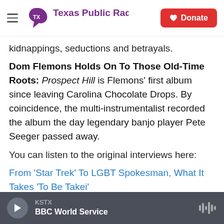Texas Public Radio | Donate
kidnappings, seductions and betrayals.
Dom Flemons Holds On To Those Old-Time Roots: Prospect Hill is Flemons' first album since leaving Carolina Chocolate Drops. By coincidence, the multi-instrumentalist recorded the album the day legendary banjo player Pete Seeger passed away.
You can listen to the original interviews here:
From 'Star Trek' To LGBT Spokesman, What It Takes 'To Be Takei'
Maggie Gyllenhaal Is 'The Honorable Woman': A
KSTX BBC World Service